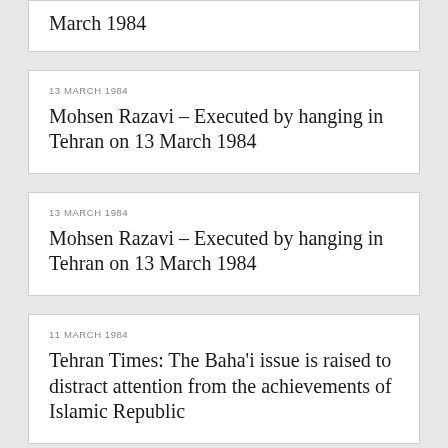March 1984
13 MARCH 1984
Mohsen Razavi – Executed by hanging in Tehran on 13 March 1984
13 MARCH 1984
Mohsen Razavi – Executed by hanging in Tehran on 13 March 1984
11 MARCH 1984
Tehran Times: The Baha'i issue is raised to distract attention from the achievements of Islamic Republic
10 MARCH 1984
Gholam-Hosein Hasanzadeh-Shakeri -